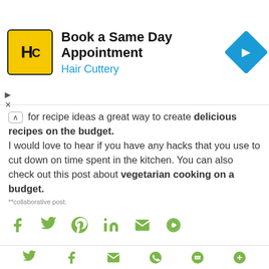[Figure (infographic): Advertisement banner for Hair Cuttery: 'Book a Same Day Appointment' with yellow HC logo and blue navigation arrow icon]
for recipe ideas a great way to create delicious recipes on the budget. I would love to hear if you have any hacks that you use to cut down on time spent in the kitchen. You can also check out this post about vegetarian cooking on a budget.
**collaborative post.
[Figure (infographic): Social sharing icons row: Facebook, Twitter, Pinterest, LinkedIn, Email, Share More — in green]
Simplyfood at 17:50:00
[Figure (infographic): Bottom share icons: Twitter, Facebook, Email, WhatsApp, SMS, Share More — in green]